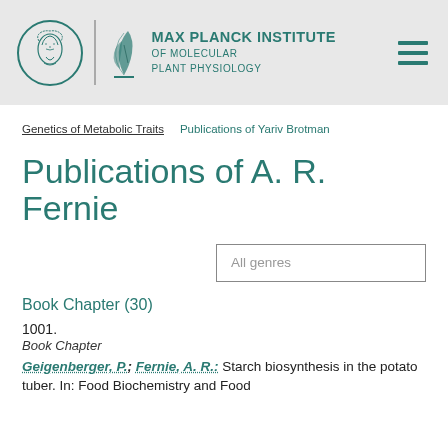MAX PLANCK INSTITUTE OF MOLECULAR PLANT PHYSIOLOGY
Genetics of Metabolic Traits | Publications of Yariv Brotman
Publications of A. R. Fernie
All genres
Book Chapter (30)
1001.
Book Chapter
Geigenberger, P.; Fernie, A. R.: Starch biosynthesis in the potato tuber. In: Food Biochemistry and Food